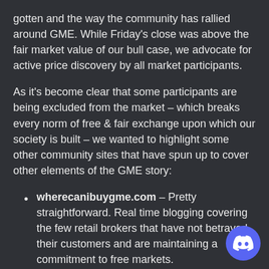gotten and the way the community has rallied around GME. While Friday's close was above the fair market value of our bull case, we advocate for active price discovery by all market participants.
As it's become clear that some participants are being excluded from the market – which breaks every norm of free & fair exchange upon which our society is built – we wanted to highlight some other community sites that have spun up to cover other elements of the GME story:
wherecanibuygme.com – Pretty straightforward. Real time blogging covering the few retail brokers that have not betrayed their customers and are maintaining a commitment to free markets.
isthesqueezesquoze.com – Daily updates on short interest and share availability, and a